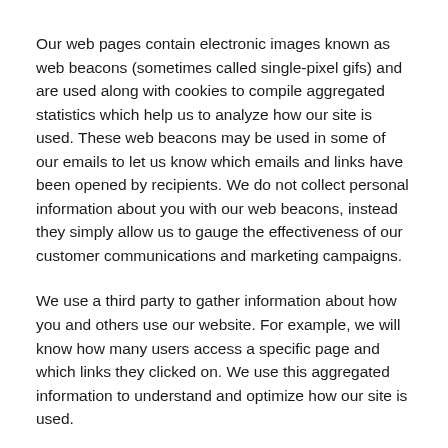Our web pages contain electronic images known as web beacons (sometimes called single-pixel gifs) and are used along with cookies to compile aggregated statistics which help us to analyze how our site is used. These web beacons may be used in some of our emails to let us know which emails and links have been opened by recipients. We do not collect personal information about you with our web beacons, instead they simply allow us to gauge the effectiveness of our customer communications and marketing campaigns.
We use a third party to gather information about how you and others use our website. For example, we will know how many users access a specific page and which links they clicked on. We use this aggregated information to understand and optimize how our site is used.
Links to Other Websites
Our website does include links to other websites whose privacy practices may differ from those of Creative Safety Supply. If you choose to use those websites, information from those outside...